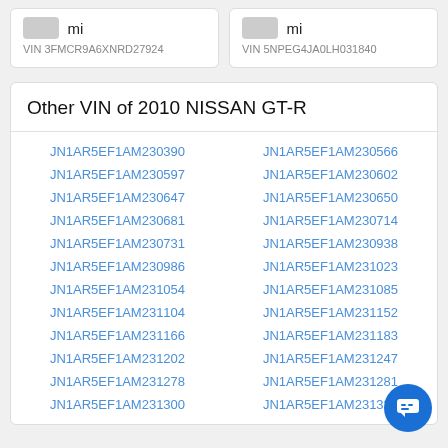mi
VIN 3FMCR9A6XNRD27924
mi
VIN 5NPEG4JA0LH031840
Other VIN of 2010 NISSAN GT-R
JN1AR5EF1AM230390
JN1AR5EF1AM230566
JN1AR5EF1AM230597
JN1AR5EF1AM230602
JN1AR5EF1AM230647
JN1AR5EF1AM230650
JN1AR5EF1AM230681
JN1AR5EF1AM230714
JN1AR5EF1AM230731
JN1AR5EF1AM230938
JN1AR5EF1AM230986
JN1AR5EF1AM231023
JN1AR5EF1AM231054
JN1AR5EF1AM231085
JN1AR5EF1AM231104
JN1AR5EF1AM231152
JN1AR5EF1AM231166
JN1AR5EF1AM231183
JN1AR5EF1AM231202
JN1AR5EF1AM231247
JN1AR5EF1AM231278
JN1AR5EF1AM231281
JN1AR5EF1AM231300
JN1AR5EF1AM231331